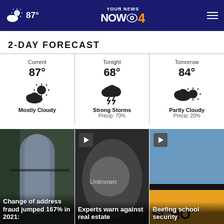87° — Your News Now 4 — Navigation
2-DAY FORECAST
[Figure (infographic): 2-day weather forecast panel with three columns: Current 87° Mostly Cloudy, Tonight 68° Strong Storms Precip: 70%, Tomorrow 84° Partly Cloudy Precip: 20%]
[Figure (photo): Mailbox close-up photo with headline: Change of address fraud jumped 167% in 2021:]
[Figure (photo): Phone screen showing Unknown caller with play button, headline: Experts warn against real estate]
[Figure (photo): Yellow school bus with headline: Beefing school security]